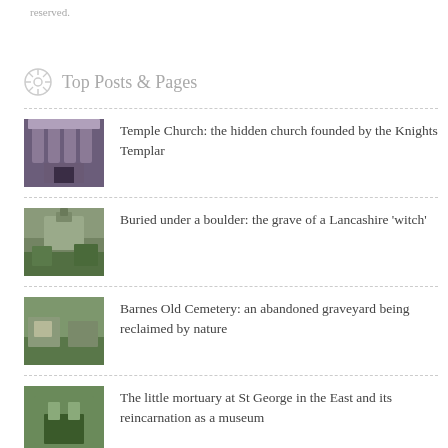reserved.
Top Posts & Pages
Temple Church: the hidden church founded by the Knights Templar
Buried under a boulder: the grave of a Lancashire 'witch'
Barnes Old Cemetery: an abandoned graveyard being reclaimed by nature
The little mortuary at St George in the East and its reincarnation as a museum
The extraordinary ossuary at St Leonard's Church, Hythe